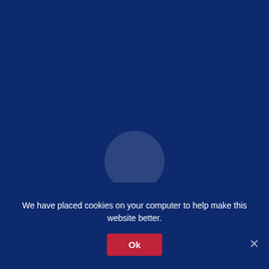[Figure (other): Dark navy blue background with a faint semi-transparent light circle in the center-lower area, representing a website loading spinner or logo placeholder]
We have placed cookies on your computer to help make this website better.
Ok
×